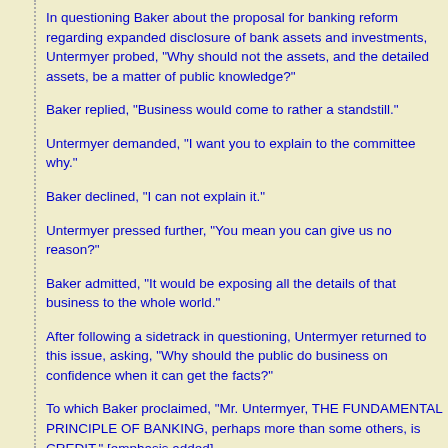In questioning Baker about the proposal for banking reform regarding expanded disclosure of bank assets and investments, Untermyer probed, "Why should not the assets, and the detailed assets, be a matter of public knowledge?"
Baker replied, "Business would come to rather a standstill."
Untermyer demanded, "I want you to explain to the committee why."
Baker declined, "I can not explain it."
Untermyer pressed further, "You mean you can give us no reason?"
Baker admitted, "It would be exposing all the details of that business to the whole world."
After following a sidetrack in questioning, Untermyer returned to this issue, asking, "Why should the public do business on confidence when it can get the facts?"
To which Baker proclaimed, "Mr. Untermyer, THE FUNDAMENTAL PRINCIPLE OF BANKING, perhaps more than some others, is CREDIT." [emphasis added]